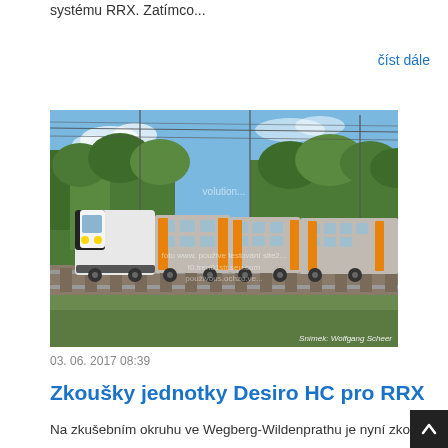systému RRX. Zatímco...
číst dále
[Figure (photo): A modern double-deck regional train (Desiro HC) in grey and orange livery traveling along a railway track surrounded by green trees under a blue sky. Photo credit: Snímek: Wolfgang Scheer]
03. 06. 2017 08:39
Zkoušky jednotky Desiro HC pro RRX
Na zkušebním okruhu ve Wegberg-Wildenprathu je nyní zkou